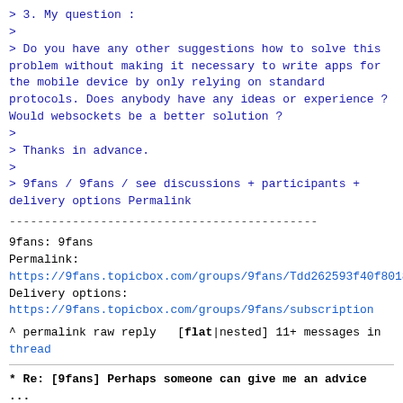> 3. My question :
>
> Do you have any other suggestions how to solve this problem without making it necessary to write apps for the mobile device by only relying on standard protocols. Does anybody have any ideas or experience ? Would websockets be a better solution ?
>
> Thanks in advance.
>
> 9fans / 9fans / see discussions + participants + delivery options Permalink
--------------------------------------------
9fans: 9fans
Permalink:
https://9fans.topicbox.com/groups/9fans/Tdd262593f40f8018Med820fa4842418a9262836ec
Delivery options:
https://9fans.topicbox.com/groups/9fans/subscription
^ permalink raw reply [flat|nested] 11+ messages in thread
* Re: [9fans] Perhaps someone can give me an advice ...
  2022-03-17 4:37 [9fans] Perhaps someone can give me an advice ibrahim via 9fans
    2022-03-17 18:53 ` Skip Tavakkolian
@ 2022-03-17 23:19 ` sirjofri